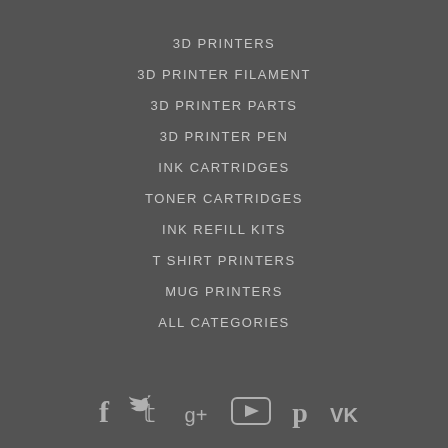3D PRINTERS
3D PRINTER FILAMENT
3D PRINTER PARTS
3D PRINTER PEN
INK CARTRIDGES
TONER CARTRIDGES
INK REFILL KITS
T SHIRT PRINTERS
MUG PRINTERS
ALL CATEGORIES
[Figure (illustration): Social media icons row: Facebook (f), Twitter (bird), Google+ (g+), YouTube (play button), Pinterest (p), VK (VK)]